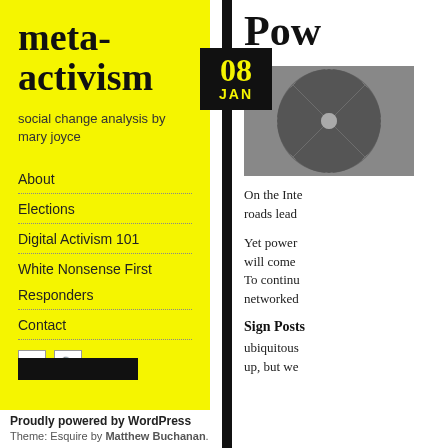meta-activism
social change analysis by mary joyce
About
Elections
Digital Activism 101
White Nonsense First
Responders
Contact
08 JAN
Pow
[Figure (photo): Aerial or overhead view of a radial road or tile pattern in black and white]
On the Inte roads lead
Yet power will come To continu networked
Sign Posts
ubiquitous up, but we
Proudly powered by WordPress Theme: Esquire by Matthew Buchanan.